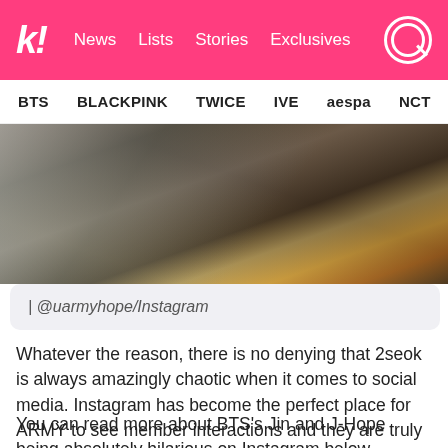k! News  Lists  Stories  Exclusives
BTS  BLACKPINK  TWICE  IVE  aespa  NCT  SEVE
[Figure (photo): Close-up photo of a glass/marble table surface with a yellow bag or object visible on the right side]
| @uarmyhope/Instagram
Whatever the reason, there is no denying that 2seok is always amazingly chaotic when it comes to social media. Instagram has become the perfect place for ARMY to see member interactions and they are truly iconic.
You can read more about BTS's Jin and J-Hope being absolutely hilarious on Instagram below.